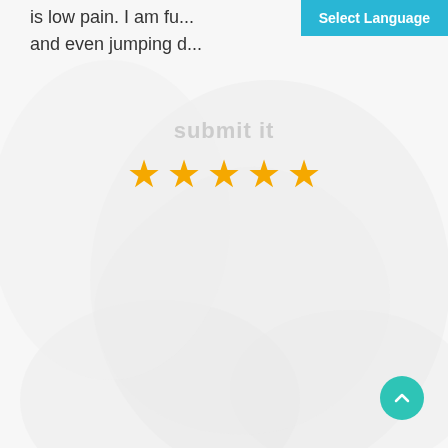is low pain. I am ful... and even jumping d...
Select Language
submit it
[Figure (infographic): Five gold/yellow star rating icons displayed horizontally]
[Figure (other): Teal circular scroll-to-top button with upward chevron arrow in bottom right corner]